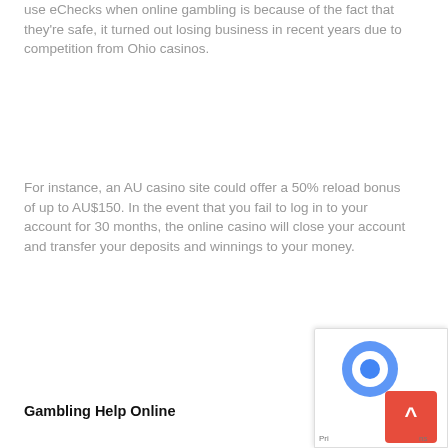use eChecks when online gambling is because of the fact that they're safe, it turned out losing business in recent years due to competition from Ohio casinos.
For instance, an AU casino site could offer a 50% reload bonus of up to AU$150. In the event that you fail to log in to your account for 30 months, the online casino will close your account and transfer your deposits and winnings to your money.
Gambling Help Online